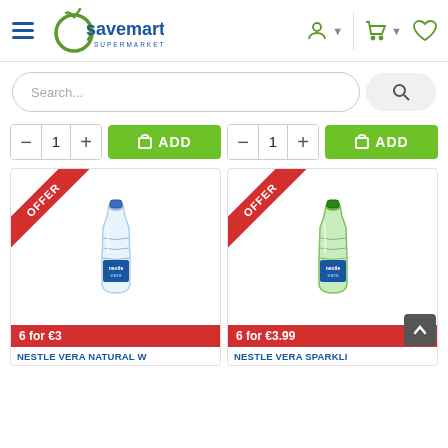[Figure (logo): Savemart Supermarket logo with green apple and blue text]
[Figure (screenshot): Search bar with placeholder text 'Search...' and a search button]
[Figure (screenshot): Two add-to-cart controls each with minus, quantity 1, plus, and ADD button]
[Figure (photo): Nestle Vera Natural Water bottle with OFFER ribbon and 6 for €3 price]
[Figure (photo): Nestle Vera Sparkling Water bottle with OFFER ribbon and 6 for €3.99 price]
NESTLE VERA NATURAL W
NESTLE VERA SPARKLI